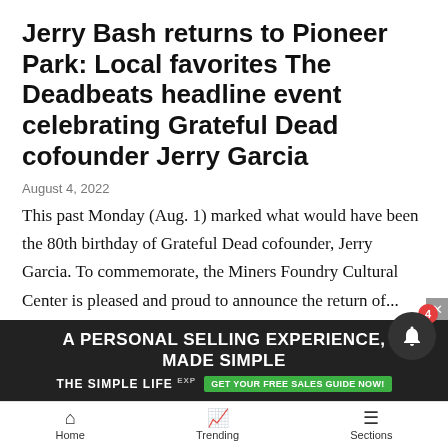Jerry Bash returns to Pioneer Park: Local favorites The Deadbeats headline event celebrating Grateful Dead cofounder Jerry Garcia
August 4, 2022
This past Monday (Aug. 1) marked what would have been the 80th birthday of Grateful Dead cofounder, Jerry Garcia. To commemorate, the Miners Foundry Cultural Center is pleased and proud to announce the return of...
Center for the Arts brings series of musicians to Nevada County
[Figure (photo): Group photo of people in blue jerseys]
[Figure (infographic): Advertisement banner: A Personal Selling Experience, Made Simple. The Simple Life exp. Get your free sales guide now!]
Home   Trending   Sections